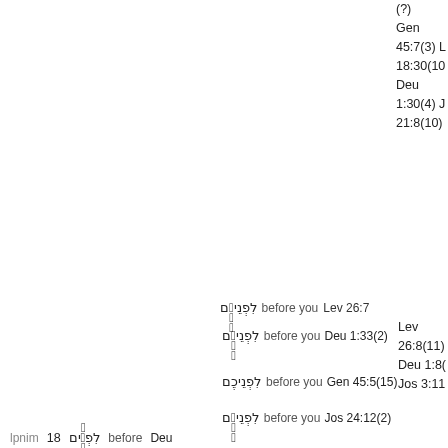(?) Gen 45:7(3) L 18:30(10) Deu 1:30(4) J 21:8(10)
לִפְנֵיכֶ֖ם before you Lev 26:7 Lev 26:8(11) Deu 1:8( Jos 3:11
לִפְנֵיכֶ֖ם before you Deu 1:33(2)
לִפְנֵיכֶם before you Gen 45:5(15) Lev 18:28(12
לִפְנֵיכֶ֖ם before you Jos 24:12(2)
lpnim 18 לִפְנֵ֗ים before Deu 2:20(9